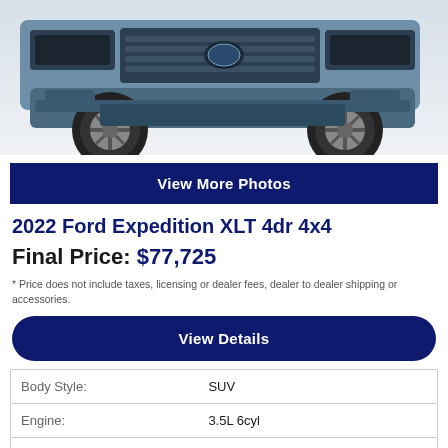[Figure (photo): Front lower view of a blue 2022 Ford Expedition XLT 4x4 SUV against a light gray background]
View More Photos
2022 Ford Expedition XLT 4dr 4x4
Final Price: $77,725
* Price does not include taxes, licensing or dealer fees, dealer to dealer shipping or accessories.
View Details
| Body Style: | SUV |
| Engine: | 3.5L 6cyl |
| Exterior Colour: | Blue |
| VIN: | 1FMJU1JT2NEA31120 |